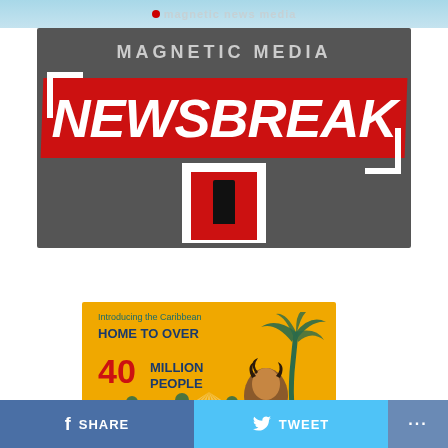magnetic news media
[Figure (logo): Magnetic Media Newsbreak logo on dark grey background with red banner and white bracket decorations and red/white 'n' icon]
[Figure (infographic): Caribbean infographic on orange/yellow background: 'Introducing the Caribbean HOME TO OVER 40 MILLION PEOPLE' with palm tree and people silhouettes]
SHARE   TWEET   ...